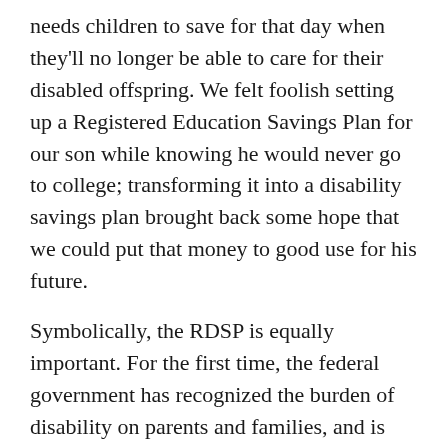needs children to save for that day when they'll no longer be able to care for their disabled offspring. We felt foolish setting up a Registered Education Savings Plan for our son while knowing he would never go to college; transforming it into a disability savings plan brought back some hope that we could put that money to good use for his future.
Symbolically, the RDSP is equally important. For the first time, the federal government has recognized the burden of disability on parents and families, and is providing a direct contribution to help assuage some of their concerns.
But, obviously, there's much to be done. Canada, which touts itself as one of the best places to live on Earth, has a less than stellar performance when it comes to providing for children in need, be they